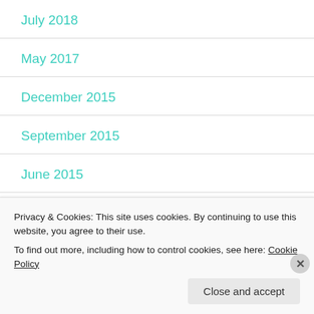July 2018
May 2017
December 2015
September 2015
June 2015
May 2015
Privacy & Cookies: This site uses cookies. By continuing to use this website, you agree to their use.
To find out more, including how to control cookies, see here: Cookie Policy
Close and accept